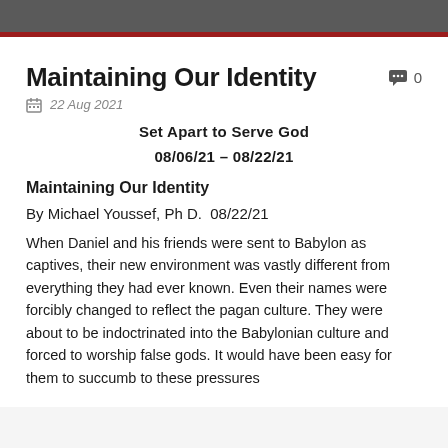Maintaining Our Identity
22 Aug 2021
Set Apart to Serve God
08/06/21 – 08/22/21
Maintaining Our Identity
By Michael Youssef, Ph D.  08/22/21
When Daniel and his friends were sent to Babylon as captives, their new environment was vastly different from everything they had ever known. Even their names were forcibly changed to reflect the pagan culture. They were about to be indoctrinated into the Babylonian culture and forced to worship false gods. It would have been easy for them to succumb to these pressures